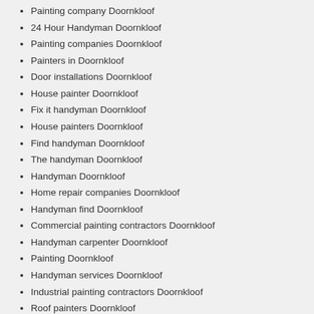Painting company Doornkloof
24 Hour Handyman Doornkloof
Painting companies Doornkloof
Painters in Doornkloof
Door installations Doornkloof
House painter Doornkloof
Fix it handyman Doornkloof
House painters Doornkloof
Find handyman Doornkloof
The handyman Doornkloof
Handyman Doornkloof
Home repair companies Doornkloof
Handyman find Doornkloof
Commercial painting contractors Doornkloof
Handyman carpenter Doornkloof
Painting Doornkloof
Handyman services Doornkloof
Industrial painting contractors Doornkloof
Roof painters Doornkloof
Door hanging Doornkloof
Handyman painter Doornkloof
Door services Doornkloof
Feel free to contact any of our experienced call centre agents if you are unsure about anything on your quote
We have good experience in business as well as our premium quality of job depends on requirement so give us a call today and also we will